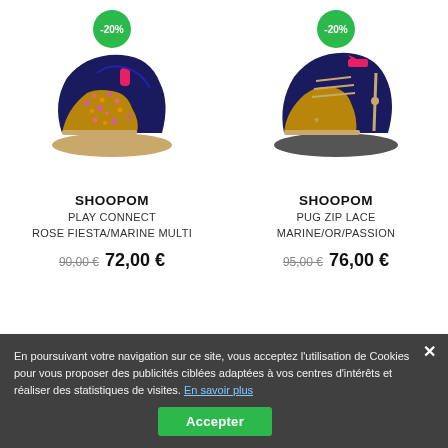[Figure (photo): Children's glitter high-top sneaker by Shoopom, navy and multicolor, with -20% badge]
[Figure (photo): Children's navy/gold high-top sneaker by Shoopom with lace and zip, with -20% badge]
SHOOPOM
PLAY CONNECT
ROSE FIESTA/MARINE MULTI
90,00 € 72,00 €
SHOOPOM
PUG ZIP LACE
MARINE/OR/PASSION
95,00 € 76,00 €
En poursuivant votre navigation sur ce site, vous acceptez l'utilisation de Cookies pour vous proposer des publicités ciblées adaptées à vos centres d'intérêts et réaliser des statistiques de visites. En savoir plus